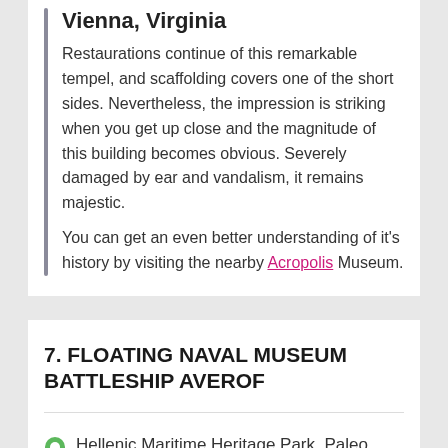Vienna, Virginia
Restaurations continue of this remarkable tempel, and scaffolding covers one of the short sides. Nevertheless, the impression is striking when you get up close and the magnitude of this building becomes obvious. Severely damaged by ear and vandalism, it remains majestic.
You can get an even better understanding of it's history by visiting the nearby Acropolis Museum.
7. FLOATING NAVAL MUSEUM BATTLESHIP AVEROF
Hellenic Maritime Heritage Park, Paleo Faliro 17510, Greece